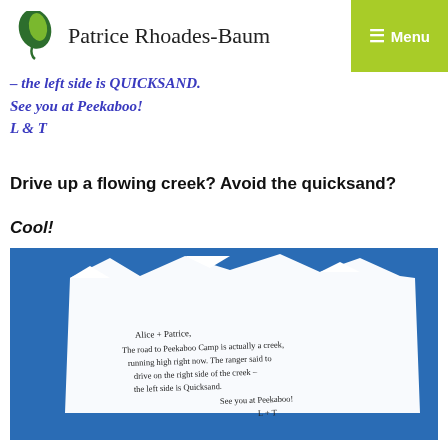Patrice Rhoades-Baum | Menu
– the left side is QUICKSAND.
See you at Peekaboo!
L & T
Drive up a flowing creek? Avoid the quicksand?
Cool!
[Figure (photo): A handwritten note on white paper against a blue background. The note reads: Alice + Patrice, The road to Peekaboo Camp is actually a creek, running high right now. The ranger said to drive on the right side of the creek - the left side is Quicksand. See you at Peekaboo! L + T]